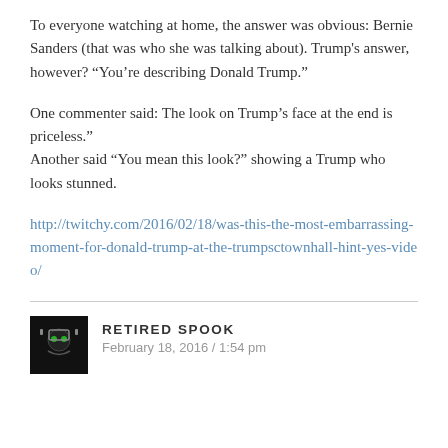To everyone watching at home, the answer was obvious: Bernie Sanders (that was who she was talking about). Trump's answer, however? “You’re describing Donald Trump.”
One commenter said: The look on Trump’s face at the end is priceless.”
Another said “You mean this look?” showing a Trump who looks stunned.
http://twitchy.com/2016/02/18/was-this-the-most-embarrassing-moment-for-donald-trump-at-the-trumpsctownhall-hint-yes-video/
RETIRED SPOOK
February 18, 2016 / 1:54 pm